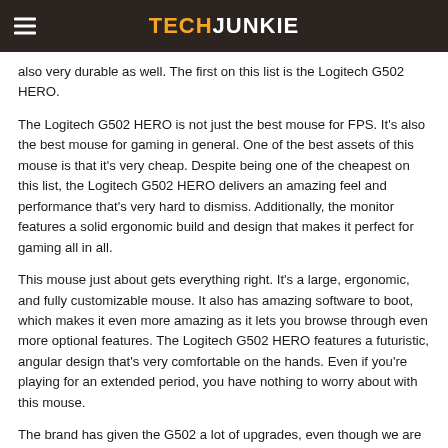TECHJUNKIE
also very durable as well. The first on this list is the Logitech G502 HERO.
The Logitech G502 HERO is not just the best mouse for FPS. It's also the best mouse for gaming in general. One of the best assets of this mouse is that it's very cheap. Despite being one of the cheapest on this list, the Logitech G502 HERO delivers an amazing feel and performance that's very hard to dismiss. Additionally, the monitor features a solid ergonomic build and design that makes it perfect for gaming all in all.
This mouse just about gets everything right. It's a large, ergonomic, and fully customizable mouse. It also has amazing software to boot, which makes it even more amazing as it lets you browse through even more optional features. The Logitech G502 HERO features a futuristic, angular design that's very comfortable on the hands. Even if you're playing for an extended period, you have nothing to worry about with this mouse.
The brand has given the G502 a lot of upgrades, even though we are